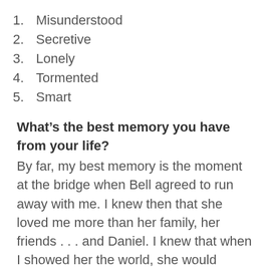1. Misunderstood
2. Secretive
3. Lonely
4. Tormented
5. Smart
What’s the best memory you have from your life?
By far, my best memory is the moment at the bridge when Bell agreed to run away with me. I knew then that she loved me more than her family, her friends . . . and Daniel. I knew that when I showed her the world, she would finally realize that the two of us were meant for so much more than Cedar Canyon had to offer, with its small minded people, none of whom had ever experienced an original thought.
I know that you’re a bit of a musician! What other kind